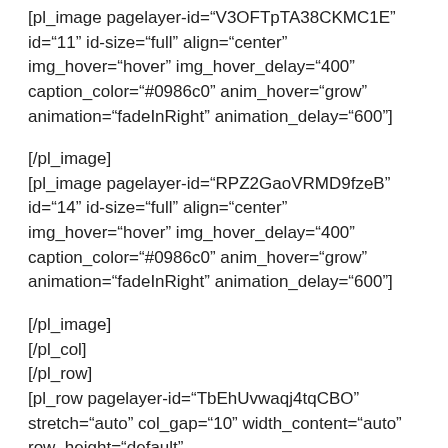[pl_image pagelayer-id="V3OFTpTA38CKMC1E" id="11" id-size="full" align="center" img_hover="hover" img_hover_delay="400" caption_color="#0986c0" anim_hover="grow" animation="fadeInRight" animation_delay="600"]
[/pl_image]
[pl_image pagelayer-id="RPZ2GaoVRMD9fzeB" id="14" id-size="full" align="center" img_hover="hover" img_hover_delay="400" caption_color="#0986c0" anim_hover="grow" animation="fadeInRight" animation_delay="600"]
[/pl_image]
[/pl_col]
[/pl_row]
[pl_row pagelayer-id="TbEhUvwaqj4tqCBO" stretch="auto" col_gap="10" width_content="auto" row_height="default"
 row_hover_delay="400" row_color="#007bc8"